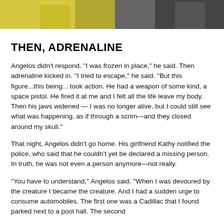[Figure (photo): Partial photo showing a person in a yellow garment and dark clothing, cropped at the top of the page]
THEN, ADRENALINE
Angelos didn't respond. ''I was frozen in place,'' he said. Then adrenaline kicked in. ''I tried to escape,'' he said. ''But this figure...this being... took action. He had a weapon of some kind, a space pistol. He fired it at me and I felt all the life leave my body. Then his jaws widened — I was no longer alive, but I could still see what was happening, as if through a scrim—and they closed around my skull.''
That night, Angelos didn't go home. His girlfriend Kathy notified the police, who said that he couldn't yet be declared a missing person. In truth, he was not even a person anymore—not really.
''You have to understand,'' Angelos said. ''When I was devoured by the creature I became the creature. And I had a sudden urge to consume automobiles. The first one was a Cadillac that I found parked next to a pool hall. The second